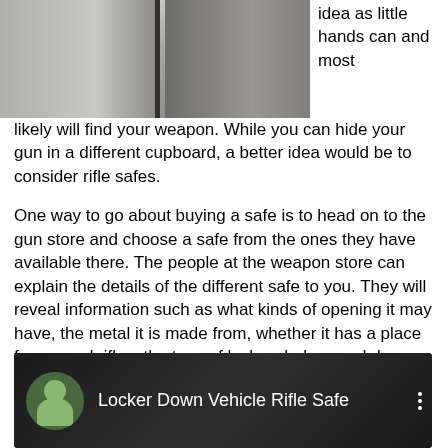[Figure (photo): Photo of gun safes/cabinets, dark colored metal safes side by side]
idea as little hands can and most likely will find your weapon. While you can hide your gun in a different cupboard, a better idea would be to consider rifle safes.
One way to go about buying a safe is to head on to the gun store and choose a safe from the ones they have available there. The people at the weapon store can explain the details of the different safe to you. They will reveal information such as what kinds of opening it may have, the metal it is made from, whether it has a place for scoped rifles, the type of locks, shelves and drawers for storing ammo or even other valuables.
[Figure (screenshot): Video thumbnail showing Locker Down Vehicle Rifle Safe with a circular avatar icon and video title text on dark background]